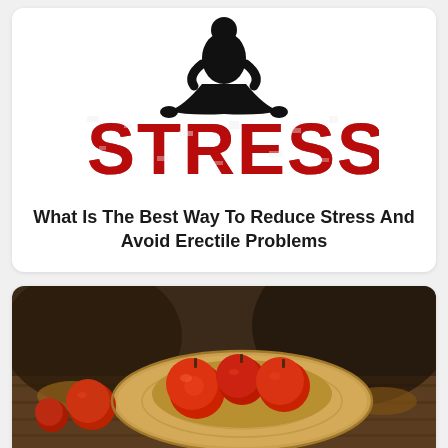[Figure (illustration): Graphic showing silhouette of person sitting in meditation pose above large red distressed text spelling STRESS]
What Is The Best Way To Reduce Stress And Avoid Erectile Problems
[Figure (photo): Photo of red apples in a straw hat placed on wooden planks in an outdoor rustic setting]
Read This Bragg's Apple Cider Vinegar Review To Find Out If It Is